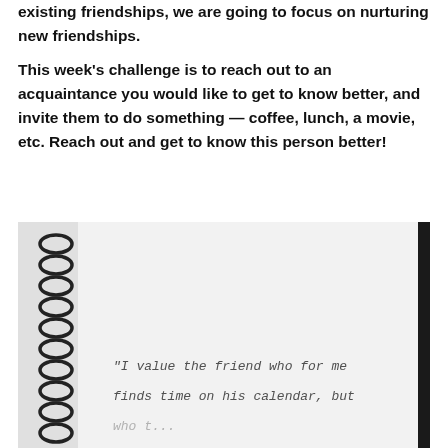existing friendships, we are going to focus on nurturing new friendships.
This week’s challenge is to reach out to an acquaintance you would like to get to know better, and invite them to do something — coffee, lunch, a movie, etc. Reach out and get to know this person better!
[Figure (photo): A spiral-bound notebook open to a blank page with handwritten text: '“I value the friend who for me finds time on his calendar, but' with more text cut off at the bottom. The notebook has a dark right edge and black metal spiral binding on the left.]